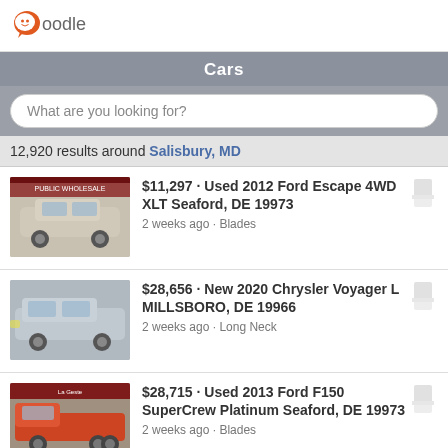[Figure (logo): Oodle logo with orange speech bubble icon and 'oodle' text]
Cars
What are you looking for?
12,920 results around Salisbury, MD
$11,297 · Used 2012 Ford Escape 4WD XLT Seaford, DE 19973 · 2 weeks ago · Blades
$28,656 · New 2020 Chrysler Voyager L MILLSBORO, DE 19966 · 2 weeks ago · Long Neck
$28,715 · Used 2013 Ford F150 SuperCrew Platinum Seaford, DE 19973 · 2 weeks ago · Blades
$27,141 · New 2019 Subaru Crosstrek 2.0i Premium Pocomoke City, MD 21851